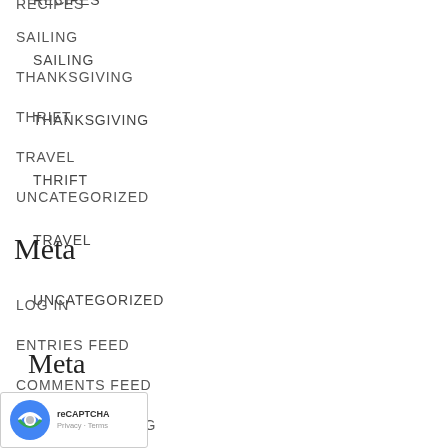RECIPES
SAILING
THANKSGIVING
THRIFT
TRAVEL
UNCATEGORIZED
Meta
LOG IN
ENTRIES FEED
COMMENTS FEED
WORDPRESS.ORG
[Figure (other): reCAPTCHA badge with Privacy and Terms links]